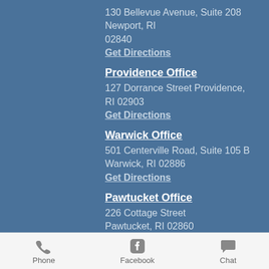130 Bellevue Avenue, Suite 208 Newport, RI 02840
Get Directions
Providence Office
127 Dorrance Street Providence, RI 02903
Get Directions
Warwick Office
501 Centerville Road, Suite 105 B Warwick, RI 02886
Get Directions
Pawtucket Office
226 Cottage Street Pawtucket, RI 02860
Get Directions
North Providence Office
7 Waterman Ave...
Phone   Facebook   Chat